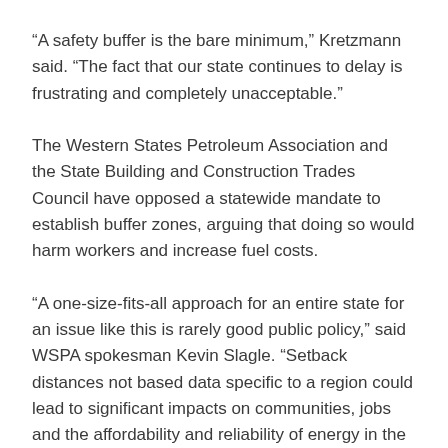“A safety buffer is the bare minimum,” Kretzmann said. “The fact that our state continues to delay is frustrating and completely unacceptable.”
The Western States Petroleum Association and the State Building and Construction Trades Council have opposed a statewide mandate to establish buffer zones, arguing that doing so would harm workers and increase fuel costs.
“A one-size-fits-all approach for an entire state for an issue like this is rarely good public policy,” said WSPA spokesman Kevin Slagle. “Setback distances not based data specific to a region could lead to significant impacts on communities, jobs and the affordability and reliability of energy in the state.”